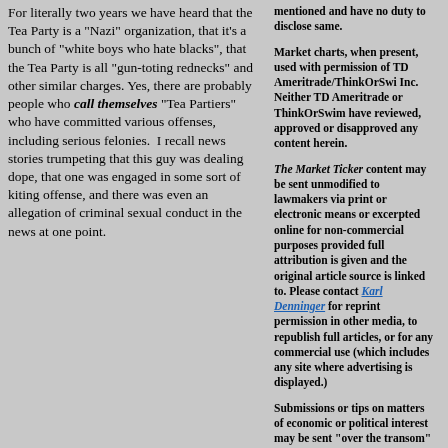For literally two years we have heard that the Tea Party is a "Nazi" organization, that it's a bunch of "white boys who hate blacks", that the Tea Party is all "gun-toting rednecks" and other similar charges. Yes, there are probably people who call themselves "Tea Partiers" who have committed various offenses, including serious felonies. I recall news stories trumpeting that this guy was dealing dope, that one was engaged in some sort of kiting offense, and there was even an allegation of criminal sexual conduct in the news at one point.
mentioned and have no duty to disclose same.
Market charts, when present, used with permission of TD Ameritrade/ThinkOrSwi Inc. Neither TD Ameritrade or ThinkOrSwim have reviewed, approved or disapproved any content herein.
The Market Ticker content may be sent unmodified to lawmakers via print or electronic means or excerpted online for non-commercial purposes provided full attribution is given and the original article source is linked to. Please contact Karl Denninger for reprint permission in other media, to republish full articles, or for any commercial use (which includes any site where advertising is displayed.)
Submissions or tips on matters of economic or political interest may be sent "over the transom" to The Editor at any time. To be considered for publication your submission must include